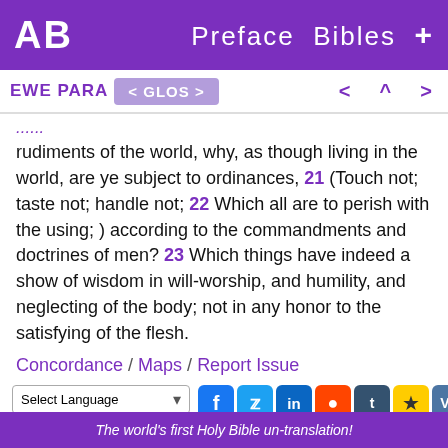AB  Preface  Bibles  +
EWE PARA  < GLOS >  < ^ >
rudiments of the world, why, as though living in the world, are ye subject to ordinances, 21 (Touch not; taste not; handle not; 22 Which all are to perish with the using; ) according to the commandments and doctrines of men? 23 Which things have indeed a show of wisdom in will-worship, and humility, and neglecting of the body; not in any honor to the satisfying of the flesh.
Concordance / Maps / Report Issue
Select Language  Powered by Google Translate
The world's first Holy Bible un-translation!